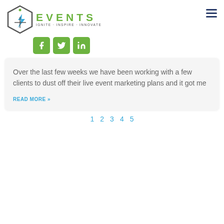[Figure (logo): i3 Events logo with hexagon icon showing lightning bolt and medical cross, text reads EVENTS IGNITE · INSPIRE · INNOVATE in green]
[Figure (infographic): Three green rounded square social media buttons: Facebook, Twitter, LinkedIn]
Over the last few weeks we have been working with a few clients to dust off their live event marketing plans and it got me
READ MORE »
1  2  3  4  5